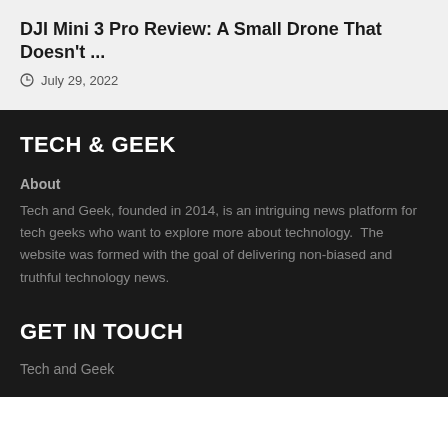DJI Mini 3 Pro Review: A Small Drone That Doesn't ...
July 29, 2022
TECH & GEEK
About
Tech and Geek, founded in 2014, is an intriguing news platform for tech geeks who want to explore more about technology.  The website was formed with the goal of delivering non-biased and truthful technology news.
GET IN TOUCH
Tech and Geek